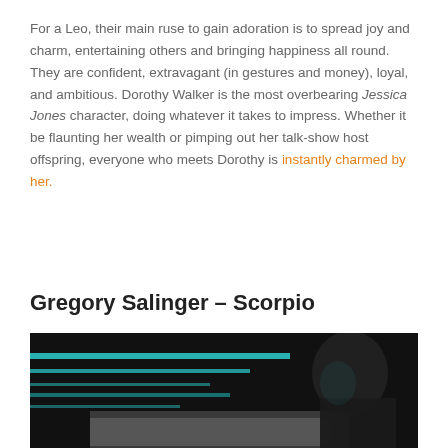For a Leo, their main ruse to gain adoration is to spread joy and charm, entertaining others and bringing happiness all round. They are confident, extravagant (in gestures and money), loyal, and ambitious. Dorothy Walker is the most overbearing Jessica Jones character, doing whatever it takes to impress. Whether it be flaunting her wealth or pimping out her talk-show host offspring, everyone who meets Dorothy is instantly charmed by her.
Gregory Salinger – Scorpio
[Figure (photo): Dark scene photo of a person (Gregory Salinger character) in a vehicle interior with teal/cyan dashboard lighting visible]